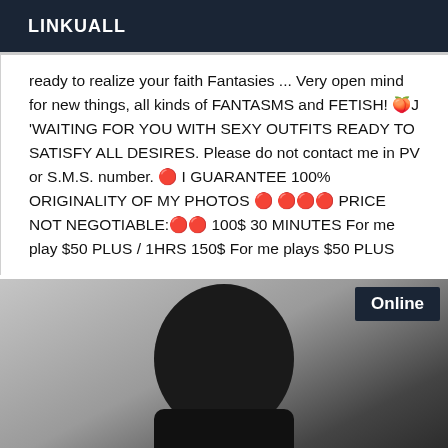LINKUALL
ready to realize your faith Fantasies ... Very open mind for new things, all kinds of FANTASMS and FETISH! 🍑J 'WAITING FOR YOU WITH SEXY OUTFITS READY TO SATISFY ALL DESIRES. Please do not contact me in PV or S.M.S. number. 🔴 I GUARANTEE 100% ORIGINALITY OF MY PHOTOS 🔴 🔴🔴🔴 PRICE NOT NEGOTIABLE:🔴🔴 100$ 30 MINUTES For me play $50 PLUS / 1HRS 150$ For me plays $50 PLUS
[Figure (photo): A close-up photo of a person wearing dark/black clothing against a light textured wall background, with a white number/logo visible at the bottom. An 'Online' badge is shown in the top right corner.]